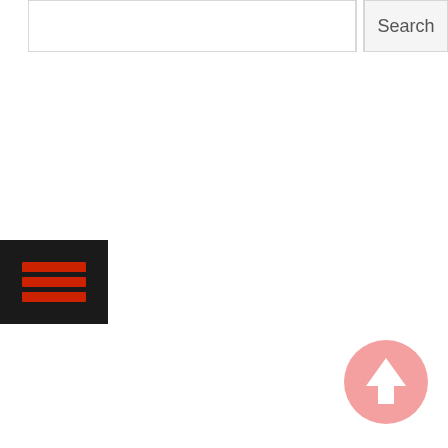[Figure (screenshot): A search bar UI element with a text input box and a 'Search' button on the right, partially cropped at the top of the page.]
[Figure (screenshot): A dark/black square button with a red hamburger menu icon (three horizontal red lines) on the left side of the page.]
[Figure (screenshot): A salmon/pink circular button with a white upward-pointing arrow, positioned in the lower right area of the page.]